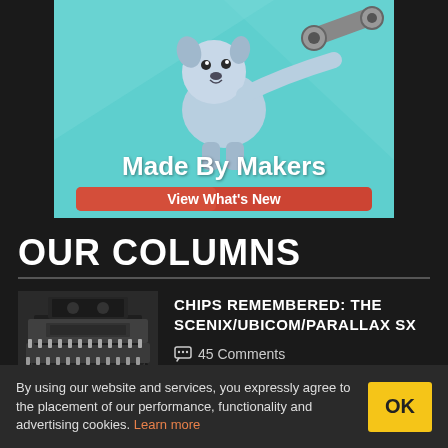[Figure (illustration): Advertisement banner with a cartoon robot dog holding a wrench on a teal background, text 'Made By Makers' and an orange button 'View What's New']
OUR COLUMNS
[Figure (photo): Thumbnail photo of various microchips/integrated circuits stacked together]
CHIPS REMEMBERED: THE SCENIX/UBICOM/PARALLAX SX
45 Comments
By using our website and services, you expressly agree to the placement of our performance, functionality and advertising cookies. Learn more